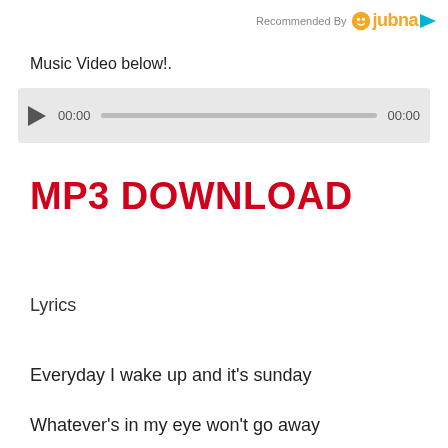Recommended By jubna
Music Video below!.
[Figure (other): Audio player with play button, progress bar, and timestamps 00:00 / 00:00]
MP3 DOWNLOAD
Lyrics
Everyday I wake up and it’s sunday
Whatever’s in my eye won’t go away